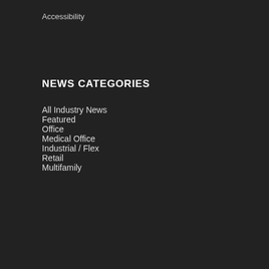Accessibility
NEWS CATEGORIES
All Industry News
Featured
Office
Medical Office
Industrial / Flex
Retail
Multifamily